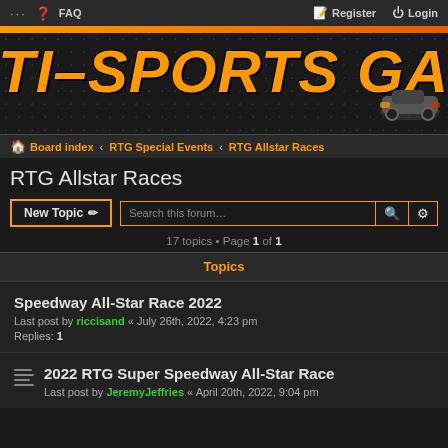... FAQ | Register Login
[Figure (illustration): TI-SPORTS GAMING LEAGUE banner with orange text on dark hexagonal background]
Board index · RTG Special Events · RTG Allstar Races
RTG Allstar Races
New Topic | Search this forum... | 17 topics • Page 1 of 1
Topics
Speedway All-Star Race 2022
Last post by riccisand « July 26th, 2022, 4:23 pm
Replies: 1
2022 RTG Super Speedway All-Star Race
Last post by JeremyJeffries « April 20th, 2022, 9:04 pm